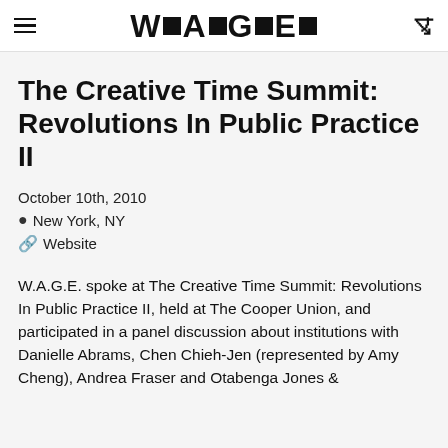W▪A▪G▪E▪
The Creative Time Summit: Revolutions In Public Practice II
October 10th, 2010
New York, NY
Website
W.A.G.E. spoke at The Creative Time Summit: Revolutions In Public Practice II, held at The Cooper Union, and participated in a panel discussion about institutions with Danielle Abrams, Chen Chieh-Jen (represented by Amy Cheng), Andrea Fraser and Otabenga Jones &